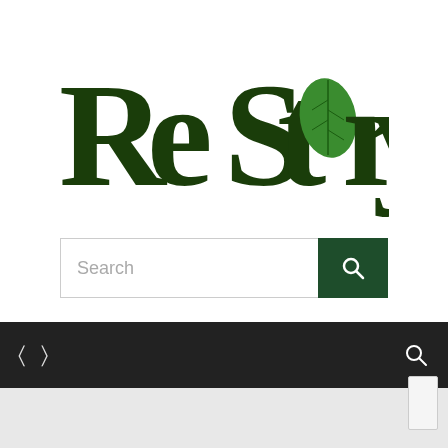[Figure (logo): ReStory logo with dark green stylized text and a green leaf replacing the letter 'o']
[Figure (screenshot): Search bar with placeholder text 'Search' and a dark green search button with magnifier icon]
[Figure (screenshot): Dark navigation bar with icon symbols on left and right sides]
[Figure (screenshot): Light grey content area below navigation bar with a small scrollbar button in bottom right]